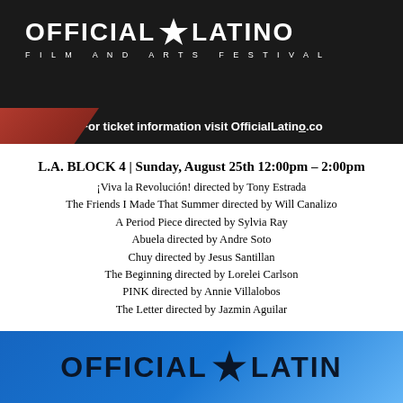[Figure (logo): Official Latino Film and Arts Festival logo with star, white text on dark background]
For ticket information visit OfficialLatino.co
L.A. BLOCK 4 | Sunday, August 25th 12:00pm – 2:00pm
¡Viva la Revolución! directed by Tony Estrada
The Friends I Made That Summer directed by Will Canalizo
A Period Piece directed by Sylvia Ray
Abuela directed by Andre Soto
Chuy directed by Jesus Santillan
The Beginning directed by Lorelei Carlson
PINK directed by Annie Villalobos
The Letter directed by Jazmin Aguilar
Buy tickets for L.A. BLOCK 4 HERE
[Figure (logo): Official Latino Film and Arts Festival logo, blue background, dark text]